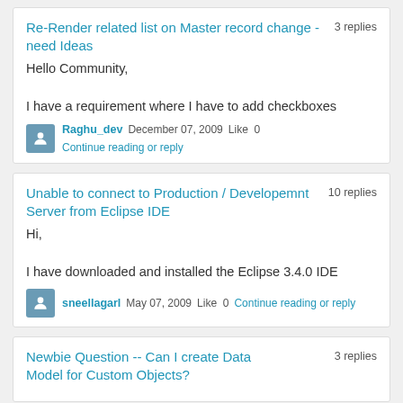Re-Render related list on Master record change - need Ideas
3 replies
Hello Community,

I have a requirement where I have to add checkboxes
Raghu_dev  December 07, 2009  Like 0  Continue reading or reply
Unable to connect to Production / Developemnt Server from Eclipse IDE
10 replies
Hi,

I have downloaded and installed the Eclipse 3.4.0 IDE
sneellagarl  May 07, 2009  Like 0  Continue reading or reply
Newbie Question -- Can I create Data Model for Custom Objects?
3 replies